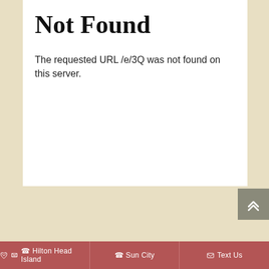Not Found
The requested URL /e/3Q was not found on this server.
Hilton Head Island | Sun City | Text Us